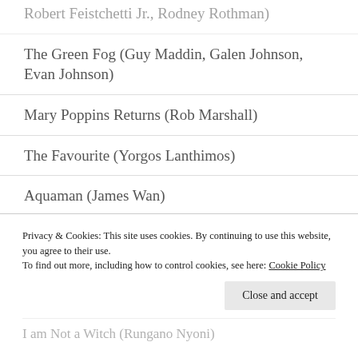Robert Feistchetti Jr., Rodney Rothman)
The Green Fog (Guy Maddin, Galen Johnson, Evan Johnson)
Mary Poppins Returns (Rob Marshall)
The Favourite (Yorgos Lanthimos)
Aquaman (James Wan)
The Wild Pear Tree (Nuri Bilge Ceylan)
Ralph Breaks the Internet (Rich Moore and Phil Johnston)
Happy Christmas (Joe Swanberg)*
I am Not a Witch (Rungano Nyoni)
Privacy & Cookies: This site uses cookies. By continuing to use this website, you agree to their use.
To find out more, including how to control cookies, see here: Cookie Policy
Close and accept